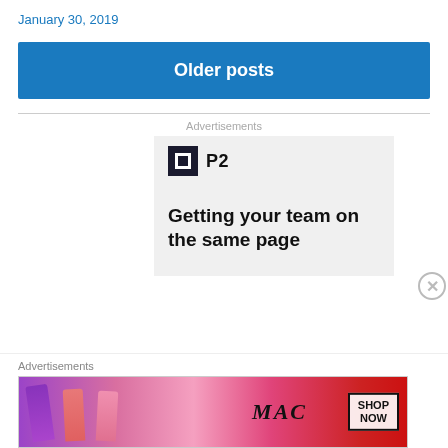January 30, 2019
Older posts
Advertisements
[Figure (logo): P2 advertisement box with logo showing a dark square icon with 'P2' text and tagline 'Getting your team on the same page']
Advertisements
[Figure (photo): MAC cosmetics advertisement banner showing lipsticks in purple, pink, and red with MAC logo and SHOP NOW button]